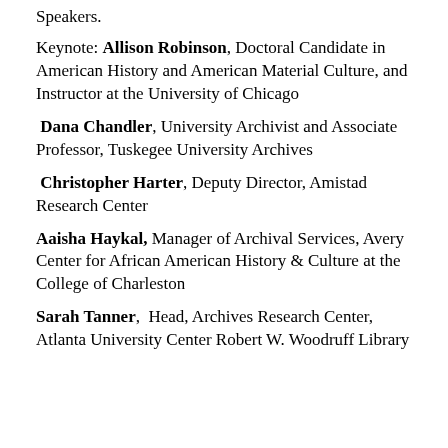Speakers.
Keynote: Allison Robinson, Doctoral Candidate in American History and American Material Culture, and Instructor at the University of Chicago
Dana Chandler, University Archivist and Associate Professor, Tuskegee University Archives
Christopher Harter, Deputy Director, Amistad Research Center
Aaisha Haykal, Manager of Archival Services, Avery Center for African American History & Culture at the College of Charleston
Sarah Tanner, Head, Archives Research Center, Atlanta University Center Robert W. Woodruff Library